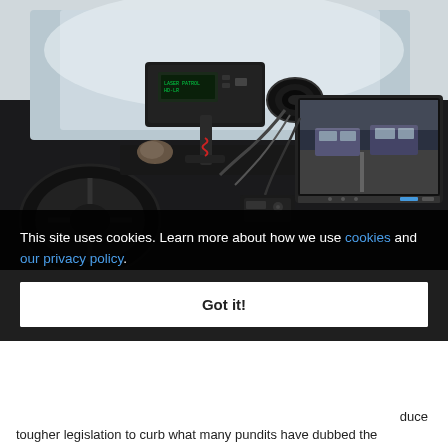[Figure (photo): Interior of a police vehicle dashboard showing a speed radar/LIDAR gun mounted on the dashboard, with a monitor/screen on the right side displaying footage of vehicles on a road. Various equipment cables and mounts are visible.]
This site uses cookies. Learn more about how we use cookies and our privacy policy.
Got it!
duce tougher legislation to curb what many pundits have dubbed the